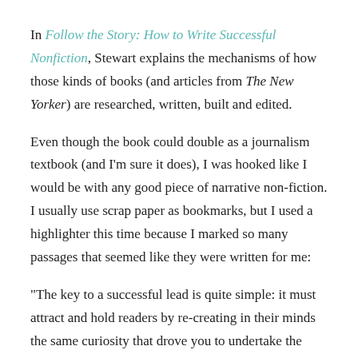In Follow the Story: How to Write Successful Nonfiction, Stewart explains the mechanisms of how those kinds of books (and articles from The New Yorker) are researched, written, built and edited.
Even though the book could double as a journalism textbook (and I'm sure it does), I was hooked like I would be with any good piece of narrative non-fiction. I usually use scrap paper as bookmarks, but I used a highlighter this time because I marked so many passages that seemed like they were written for me:
"The key to a successful lead is quite simple: it must attract and hold readers by re-creating in their minds the same curiosity that drove you to undertake the story in the first